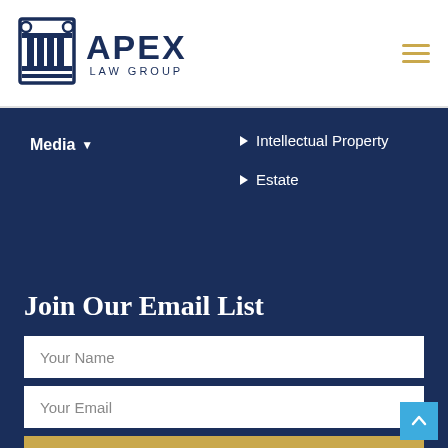[Figure (logo): Apex Law Group logo with column icon and text]
Media ▼
▶ Intellectual Property
▶ Estate
Join Our Email List
Your Name
Your Email
SUBSCRIBE